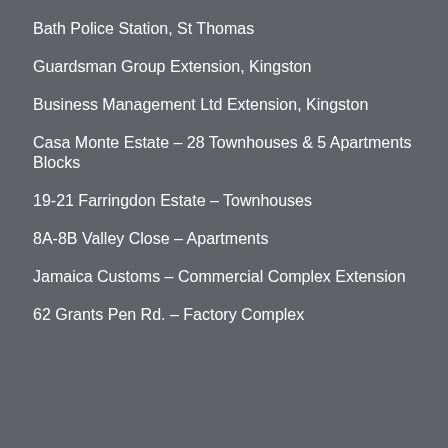Bath Police Station, St Thomas
Guardsman Group Extension, Kingston
Business Management Ltd Extension, Kingston
Casa Monte Estate – 28 Townhouses & 5 Apartments Blocks
19-21 Farringdon Estate – Townhouses
8A-8B Valley Close – Apartments
Jamaica Customs – Commercial Complex Extension
62 Grants Pen Rd. – Factory Complex